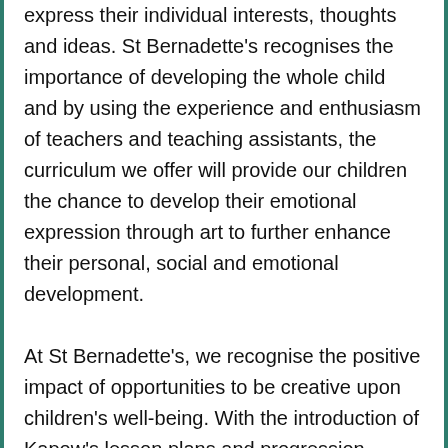express their individual interests, thoughts and ideas. St Bernadette's recognises the importance of developing the whole child and by using the experience and enthusiasm of teachers and teaching assistants, the curriculum we offer will provide our children the chance to develop their emotional expression through art to further enhance their personal, social and emotional development. At St Bernadette's, we recognise the positive impact of opportunities to be creative upon children's well-being. With the introduction of Kapow's lesson plans and progression documents, our Art and Design co-ordinator working alongside class